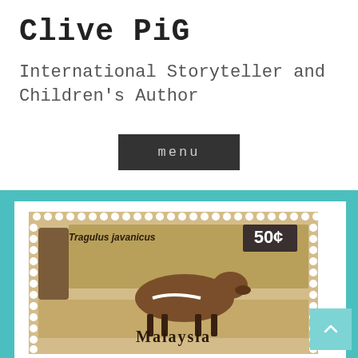Clive PiG
International Storyteller and Children's Author
menu
[Figure (photo): A Malaysian postage stamp showing Tragulus javanicus (Lesser mouse-deer) with a value of 50 cents, with 'Malaysia' text at the bottom.]